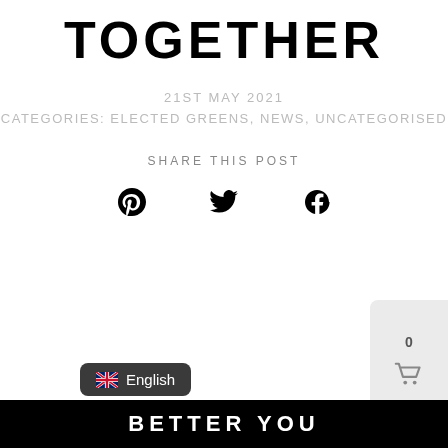TOGETHER
21ST MAY 2021
CATEGORIES: ELECTED GREENS, NEWS, UNCATEGORISED
SHARE THIS POST
[Figure (infographic): Social share icons: Pinterest, Twitter, Facebook]
[Figure (infographic): Shopping cart widget showing count 0]
English
BETTER YOU (partial, bottom bar)